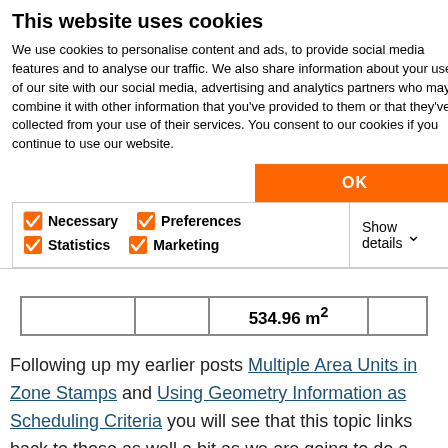This website uses cookies
We use cookies to personalise content and ads, to provide social media features and to analyse our traffic. We also share information about your use of our site with our social media, advertising and analytics partners who may combine it with other information that you've provided to them or that they've collected from your use of their services. You consent to our cookies if you continue to use our website.
|  |  | 534.96 m² |  |
Following up my earlier posts Multiple Area Units in Zone Stamps and Using Geometry Information as Scheduling Criteria you will see that this topic links back to those as well a bit as we are going to do a tiny bit of expression magic again, just like we did for the area conversion which could eventually be used as a criteria, hence giving us extra